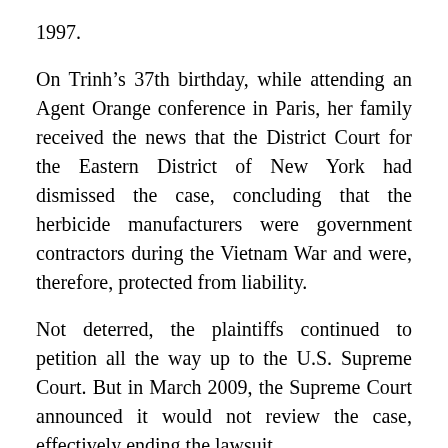1997.
On Trinh’s 37th birthday, while attending an Agent Orange conference in Paris, her family received the news that the District Court for the Eastern District of New York had dismissed the case, concluding that the herbicide manufacturers were government contractors during the Vietnam War and were, therefore, protected from liability.
Not deterred, the plaintiffs continued to petition all the way up to the U.S. Supreme Court. But in March 2009, the Supreme Court announced it would not review the case, effectively ending the lawsuit.
“It was devastating,” said Trinh. Later that year, she was diagnosed with uterine cancer. She had been exposed to Agent Orange as a child.
Eight years after the lawsuit was dismissed, Trinh has overcome her battle against cancer. The international